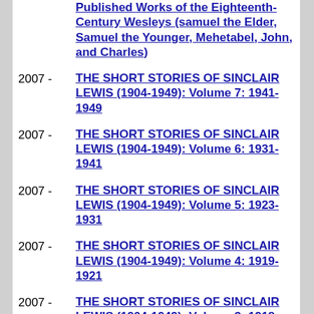Published Works of the Eighteenth-Century Wesleys (samuel the Elder, Samuel the Younger, Mehetabel, John, and Charles)
2007 - THE SHORT STORIES OF SINCLAIR LEWIS (1904-1949): Volume 7: 1941-1949
2007 - THE SHORT STORIES OF SINCLAIR LEWIS (1904-1949): Volume 6: 1931-1941
2007 - THE SHORT STORIES OF SINCLAIR LEWIS (1904-1949): Volume 5: 1923-1931
2007 - THE SHORT STORIES OF SINCLAIR LEWIS (1904-1949): Volume 4: 1919-1921
2007 - THE SHORT STORIES OF SINCLAIR LEWIS (1904-1949): Volume 3: 1918-